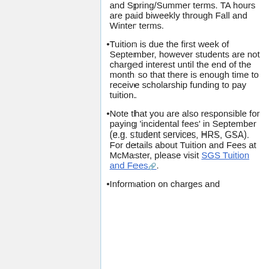and Spring/Summer terms. TA hours are paid biweekly through Fall and Winter terms.
Tuition is due the first week of September, however students are not charged interest until the end of the month so that there is enough time to receive scholarship funding to pay tuition.
Note that you are also responsible for paying 'incidental fees' in September (e.g. student services, HRS, GSA). For details about Tuition and Fees at McMaster, please visit SGS Tuition and Fees.
Information on charges and